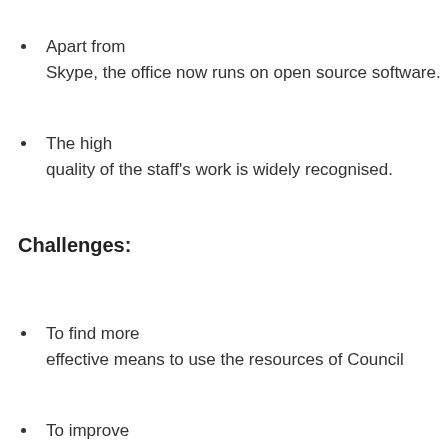Apart from Skype, the office now runs on open source software.
The high quality of the staff's work is widely recognised.
Challenges:
To find more effective means to use the resources of Council
To improve